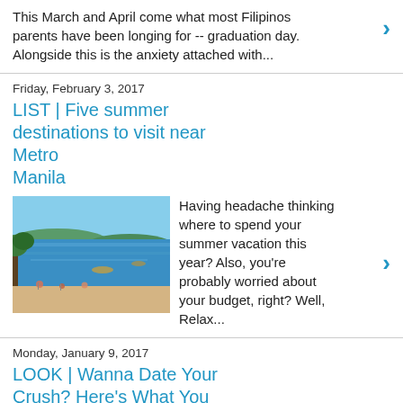This March and April come what most Filipinos parents have been longing for -- graduation day. Alongside this is the anxiety attached with...
Friday, February 3, 2017
LIST | Five summer destinations to visit near Metro Manila
[Figure (photo): Beach scene with blue water and people on the shore]
Having headache thinking where to spend your summer vacation this year? Also, you're probably worried about your budget, right? Well, Relax...
Monday, January 9, 2017
LOOK | Wanna Date Your Crush? Here's What You Should Do.
[Figure (screenshot): Screenshot of a Facebook post by a UST student named RJ Carbonell]
I, sort of, happened to have come across this Facebook post by a certain UST student named RJ Carbonell. And what he gave away through